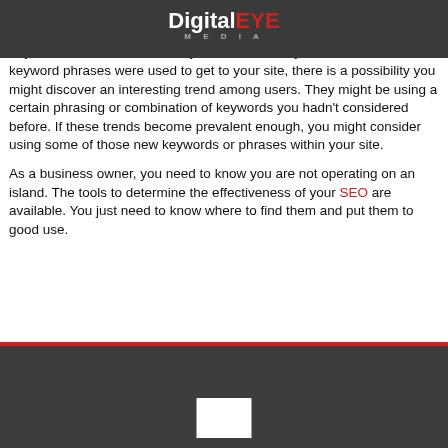DigitalEYE MEDIA
with viewers.
Keyword Revelations – When you view the analytics related to which keyword phrases were used to get to your site, there is a possibility you might discover an interesting trend among users. They might be using a certain phrasing or combination of keywords you hadn't considered before. If these trends become prevalent enough, you might consider using some of those new keywords or phrases within your site.

As a business owner, you need to know you are not operating on an island. The tools to determine the effectiveness of your SEO are available. You just need to know where to find them and put them to good use.